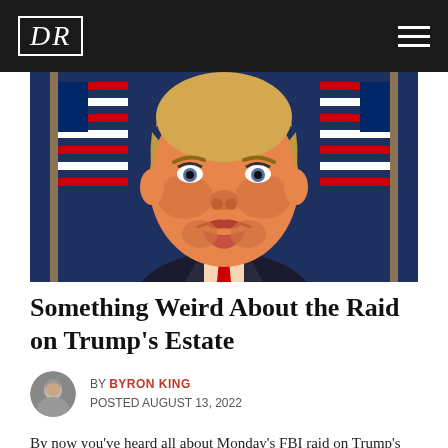DR
[Figure (illustration): Caricature illustration of Donald Trump with an exaggerated frowning face, orange skin tone, blonde hair, wearing a dark suit and red tie, flanked by two American flags on a dark blue background.]
Something Weird About the Raid on Trump's Estate
BY BYRON KING
POSTED AUGUST 13, 2022
By now you've heard all about Monday's FBI raid on Trump's Florida estate. But there's something about it that puzzled gold expert Byron King, a close associate of Jim Rickards. Why didn't gold soar after the raid?